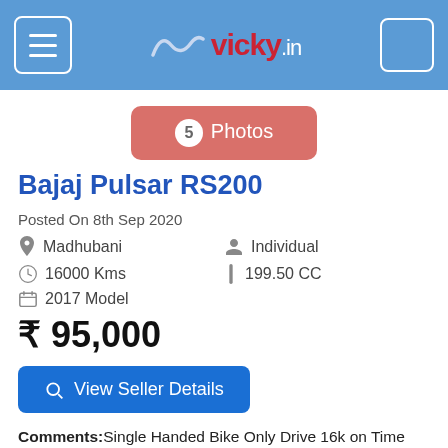[Figure (screenshot): vicky.in website header with hamburger menu, logo, and search icon on blue background]
[Figure (other): Pink button showing '5 Photos']
Bajaj Pulsar RS200 Posted On 8th Sep 2020
Madhubani
Individual
16000 Kms
199.50 CC
2017 Model
₹ 95,000
View Seller Details
Comments:Single Handed Bike Only Drive 16k on Time Service with professional mechanic Only In Authorization Center. It is a well maintained two-wheeler that has been less driven Please contact me for further details.